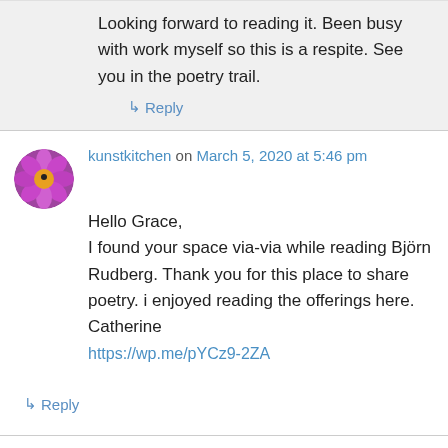Looking forward to reading it. Been busy with work myself so this is a respite. See you in the poetry trail.
↳ Reply
kunstkitchen on March 5, 2020 at 5:46 pm
Hello Grace,
I found your space via-via while reading Björn Rudberg. Thank you for this place to share poetry. i enjoyed reading the offerings here.
Catherine
https://wp.me/pYCz9-2ZA
↳ Reply